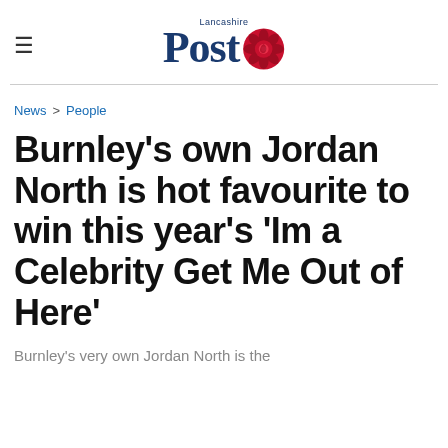Lancashire Post
News > People
Burnley's own Jordan North is hot favourite to win this year's 'Im a Celebrity Get Me Out of Here'
Burnley's very own Jordan North is the